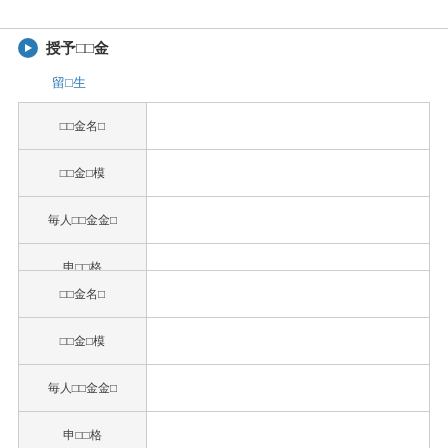授予奨学金
留学生
| Field | Value |
| --- | --- |
| 奨学金名称 |  |
| 奨学金規模 |  |
| 毎人奨学金金額 |  |
| 申込資格 |  |
| Field | Value |
| --- | --- |
| 奨学金名称 |  |
| 奨学金規模 |  |
| 毎人奨学金金額 |  |
| 申込資格 |  |